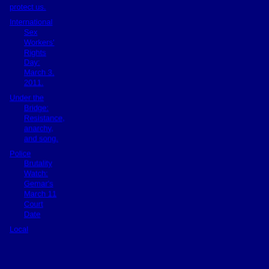protect us.
International Sex Workers' Rights Day: March 3, 2011.
Under the Bridge: Resistance, anarchy, and song.
Police Brutality Watch: Gemar's March 11 Court Date
Local